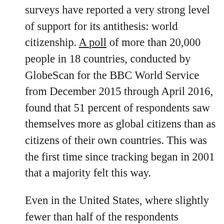surveys have reported a very strong level of support for its antithesis: world citizenship. A poll of more than 20,000 people in 18 countries, conducted by GlobeScan for the BBC World Service from December 2015 through April 2016, found that 51 percent of respondents saw themselves more as global citizens than as citizens of their own countries. This was the first time since tracking began in 2001 that a majority felt this way.
Even in the United States, where slightly fewer than half of the respondents identified themselves as global citizens, Trump's hyper-nationalist campaign